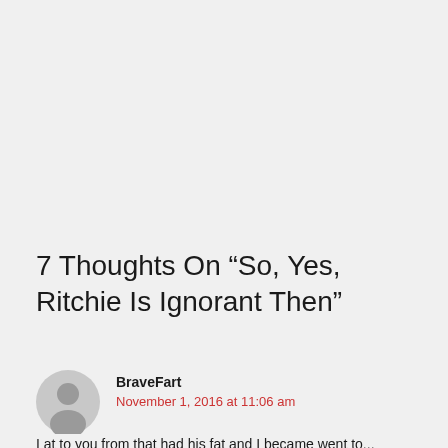7 Thoughts On “So, Yes, Ritchie Is Ignorant Then”
[Figure (illustration): Gray circular avatar icon with a silhouette of a person]
BraveFart
November 1, 2016 at 11:06 am
I at to you from that had his fat and I became went to...